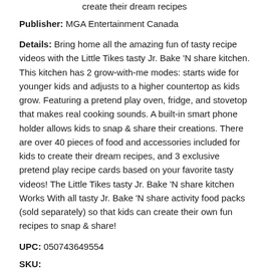create their dream recipes
Publisher: MGA Entertainment Canada
Details: Bring home all the amazing fun of tasty recipe videos with the Little Tikes tasty Jr. Bake 'N share kitchen. This kitchen has 2 grow-with-me modes: starts wide for younger kids and adjusts to a higher countertop as kids grow. Featuring a pretend play oven, fridge, and stovetop that makes real cooking sounds. A built-in smart phone holder allows kids to snap & share their creations. There are over 40 pieces of food and accessories included for kids to create their dream recipes, and 3 exclusive pretend play recipe cards based on your favorite tasty videos! The Little Tikes tasty Jr. Bake 'N share kitchen Works With all tasty Jr. Bake 'N share activity food packs (sold separately) so that kids can create their own fun recipes to snap & share!
UPC: 050743649554
SKU: